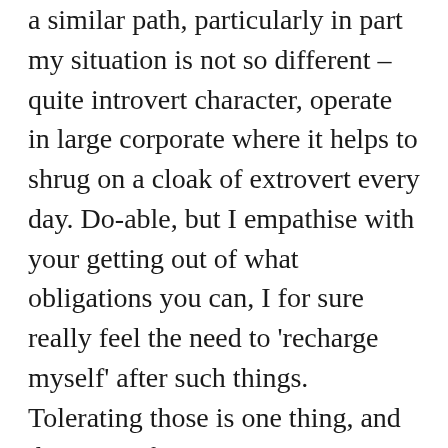a similar path, particularly in part my situation is not so different – quite introvert character, operate in large corporate where it helps to shrug on a cloak of extrovert every day. Doable, but I empathise with your getting out of what obligations you can, I for sure really feel the need to 'recharge myself' after such things. Tolerating those is one thing, and there are of course positives . But it brings to mind Gandhi's comment of happiness being when what we think, what we say and how we act being in harmony – impossible to achieve in the average corporate these days!? 🙂 It seems also more and more understand about the role of stress on health – as you touch on – and that we are more designed to tolerate acute stress than chronic stress. With that in mind FI